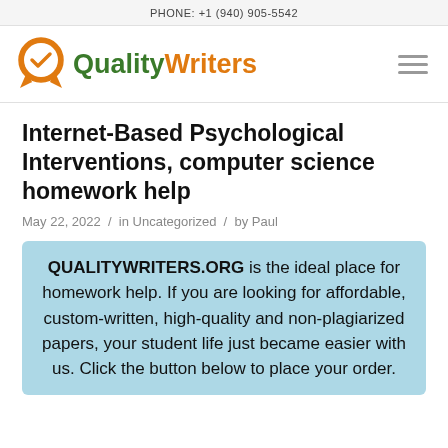PHONE: +1 (940) 905-5542
[Figure (logo): QualityWriters logo with orange badge/medal icon and green 'Quality' orange 'Writers' text, hamburger menu icon on right]
Internet-Based Psychological Interventions, computer science homework help
May 22, 2022  /  in Uncategorized  /  by Paul
QUALITYWRITERS.ORG is the ideal place for homework help. If you are looking for affordable, custom-written, high-quality and non-plagiarized papers, your student life just became easier with us. Click the button below to place your order.